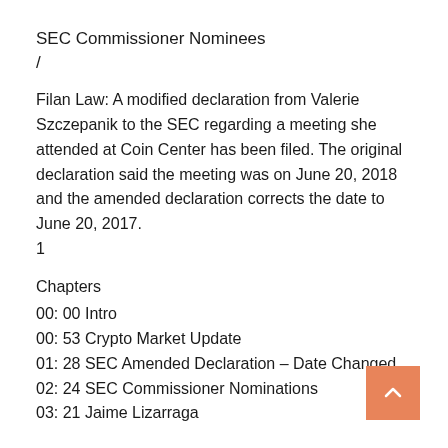SEC Commissioner Nominees
/
Filan Law: A modified declaration from Valerie Szczepanik to the SEC regarding a meeting she attended at Coin Center has been filed. The original declaration said the meeting was on June 20, 2018 and the amended declaration corrects the date to June 20, 2017.
1
Chapters
00: 00 Intro
00: 53 Crypto Market Update
01: 28 SEC Amended Declaration – Date Changed
02: 24 SEC Commissioner Nominations
03: 21 Jaime Lizarraga